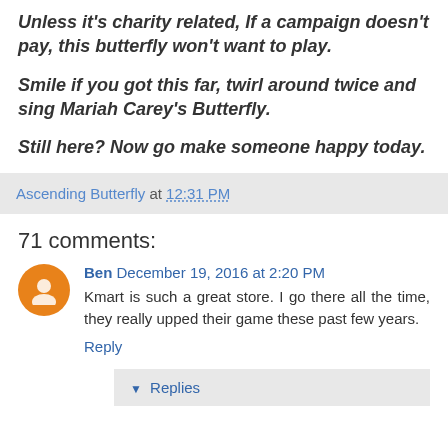Unless it's charity related, If a campaign doesn't pay, this butterfly won't want to play.
Smile if you got this far, twirl around twice and sing Mariah Carey's Butterfly.
Still here? Now go make someone happy today.
Ascending Butterfly at 12:31 PM
71 comments:
Ben December 19, 2016 at 2:20 PM
Kmart is such a great store. I go there all the time, they really upped their game these past few years.
Reply
Replies